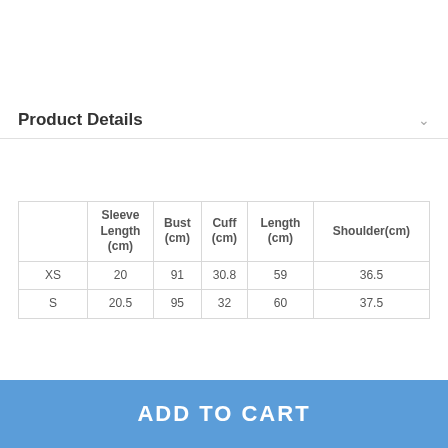Product Details
|  | Sleeve Length (cm) | Bust (cm) | Cuff (cm) | Length (cm) | Shoulder(cm) |
| --- | --- | --- | --- | --- | --- |
| XS | 20 | 91 | 30.8 | 59 | 36.5 |
| S | 20.5 | 95 | 32 | 60 | 37.5 |
ADD TO CART